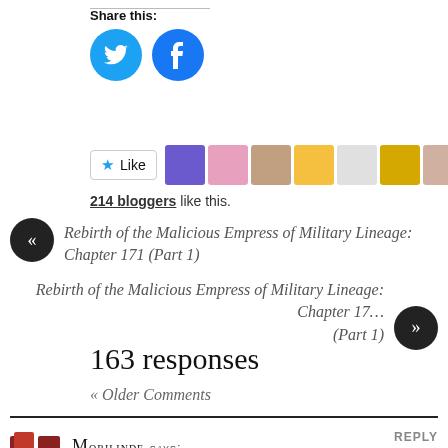Share this:
[Figure (logo): Twitter circular blue icon and Facebook circular blue icon]
[Figure (infographic): Like button with star icon and a row of blogger avatar images]
214 bloggers like this.
« Rebirth of the Malicious Empress of Military Lineage: Chapter 171 (Part 1)
Rebirth of the Malicious Empress of Military Lineage: Chapter 17… (Part 1) »
163 responses
« Older Comments
Morilinde says:
REPLY